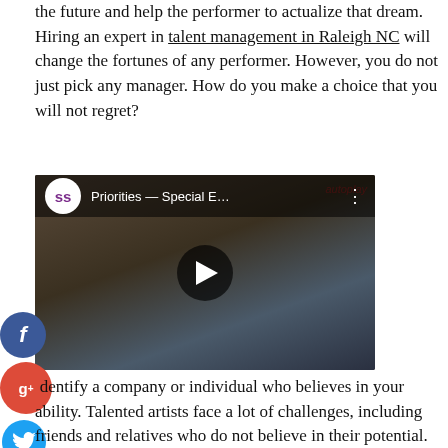the future and help the performer to actualize that dream. Hiring an expert in talent management in Raleigh NC will change the fortunes of any performer. However, you do not just pick any manager. How do you make a choice that you will not regret?
[Figure (screenshot): Embedded YouTube-style video thumbnail showing 'Priorities — Special E…' with SS logo, play button, and people seated at a conference table]
identify a company or individual who believes in your ability. Talented artists face a lot of challenges, including friends and relatives who do not believe in their potential. A lot of people end up losing their